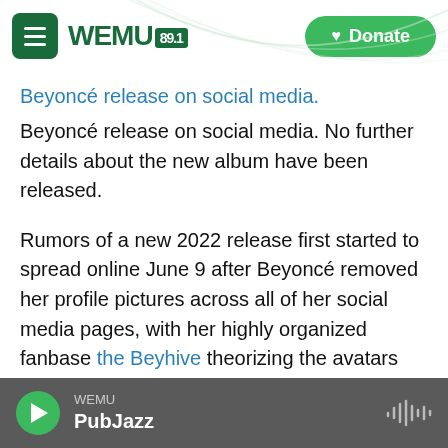WEMU 89.1 — Donate
Beyoncé release on social media. No further details about the new album have been released.
Rumors of a new 2022 release first started to spread online June 9 after Beyoncé removed her profile pictures across all of her social media pages, with her highly organized fanbase the Beyhive theorizing the avatars signaled new material on the horizon.
Across her extensive career, Beyoncé has maintained her position as one of the most powerful, attention-commanding performers in
WEMU PubJazz